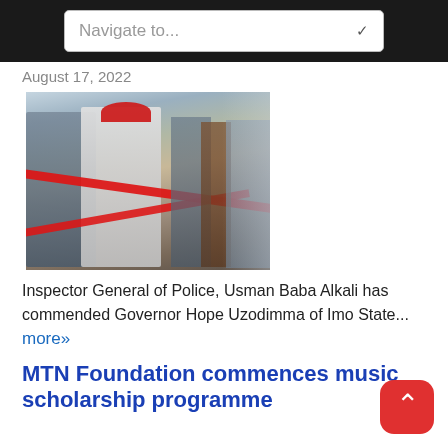Navigate to...
August 17, 2022
[Figure (photo): A ribbon-cutting ceremony with what appears to be the Inspector General of Police and Governor Hope Uzodimma of Imo State. A person in police uniform holds a microphone, a man in white attire and red cap cuts a red ribbon, surrounded by a crowd.]
Inspector General of Police, Usman Baba Alkali has commended Governor Hope Uzodimma of Imo State... more»
MTN Foundation commences music scholarship programme